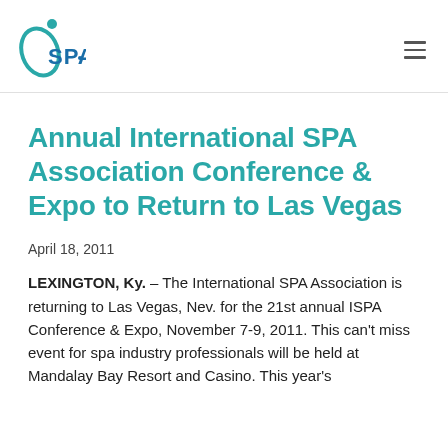iSPA
Annual International SPA Association Conference & Expo to Return to Las Vegas
April 18, 2011
LEXINGTON, Ky. – The International SPA Association is returning to Las Vegas, Nev. for the 21st annual ISPA Conference & Expo, November 7-9, 2011. This can't miss event for spa industry professionals will be held at Mandalay Bay Resort and Casino. This year's